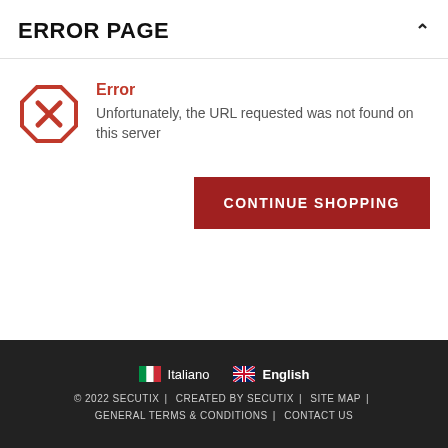ERROR PAGE
Error
Unfortunately, the URL requested was not found on this server
[Figure (illustration): Red octagon error icon with X mark inside]
CONTINUE SHOPPING
Italiano  English  © 2022 SECUTIX  |  CREATED BY SECUTIX  |  SITE MAP  |  GENERAL TERMS & CONDITIONS  |  CONTACT US